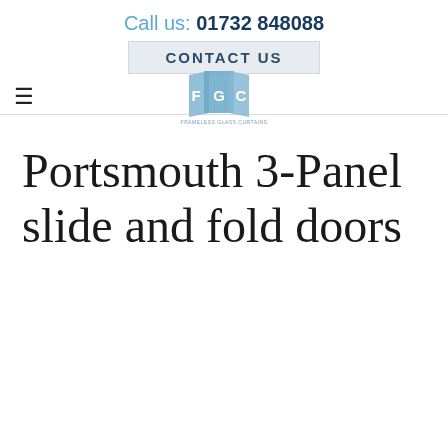Call us: 01732 848088
CONTACT US
[Figure (logo): FGC Frameless Glass Curtains logo — three overlapping blue/grey rectangular panels with letters F, G, C and text FRAMELESS GLASS CURTAINS below]
Portsmouth 3-Panel slide and fold doors